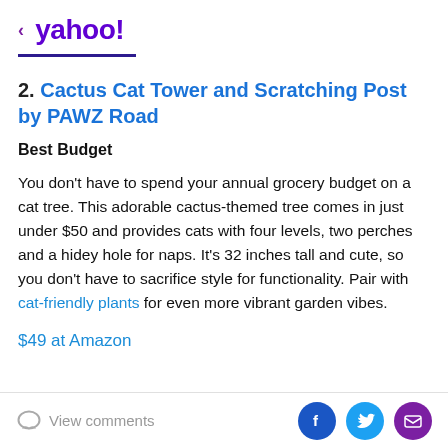< yahoo!
2. Cactus Cat Tower and Scratching Post by PAWZ Road
Best Budget
You don't have to spend your annual grocery budget on a cat tree. This adorable cactus-themed tree comes in just under $50 and provides cats with four levels, two perches and a hidey hole for naps. It's 32 inches tall and cute, so you don't have to sacrifice style for functionality. Pair with cat-friendly plants for even more vibrant garden vibes.
$49 at Amazon
View comments